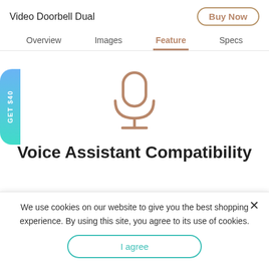Video Doorbell Dual
Buy Now
Overview | Images | Feature | Specs
[Figure (illustration): Microphone icon in brown/tan color representing voice assistant compatibility]
Voice Assistant Compatibility
GET $40
We use cookies on our website to give you the best shopping experience. By using this site, you agree to its use of cookies.
I agree